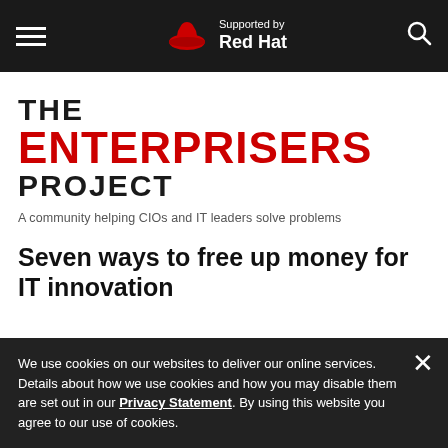Supported by Red Hat
THE ENTERPRISERS PROJECT
A community helping CIOs and IT leaders solve problems
Seven ways to free up money for IT innovation
We use cookies on our websites to deliver our online services. Details about how we use cookies and how you may disable them are set out in our Privacy Statement. By using this website you agree to our use of cookies.